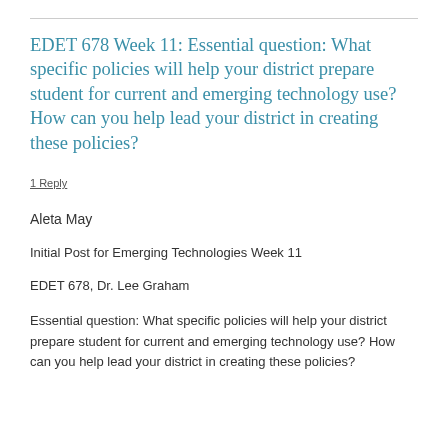EDET 678 Week 11: Essential question: What specific policies will help your district prepare student for current and emerging technology use? How can you help lead your district in creating these policies?
1 Reply
Aleta May
Initial Post for Emerging Technologies Week 11
EDET 678, Dr. Lee Graham
Essential question: What specific policies will help your district prepare student for current and emerging technology use? How can you help lead your district in creating these policies?